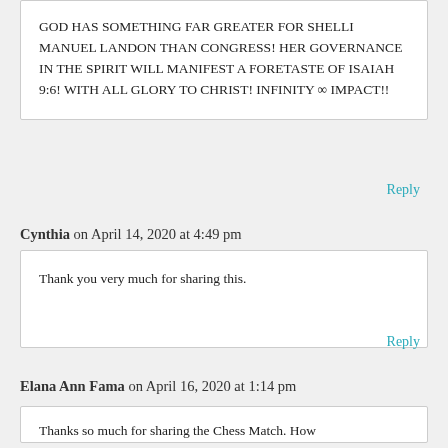GOD HAS SOMETHING FAR GREATER FOR SHELLI MANUEL LANDON THAN CONGRESS! HER GOVERNANCE IN THE SPIRIT WILL MANIFEST A FORETASTE OF ISAIAH 9:6! WITH ALL GLORY TO CHRIST! INFINITY ∞ IMPACT!!
Reply
Cynthia on April 14, 2020 at 4:49 pm
Thank you very much for sharing this.
Reply
Elana Ann Fama on April 16, 2020 at 1:14 pm
Thanks so much for sharing the Chess Match. How